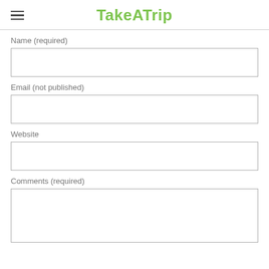TakeATrip
Name (required)
Email (not published)
Website
Comments (required)